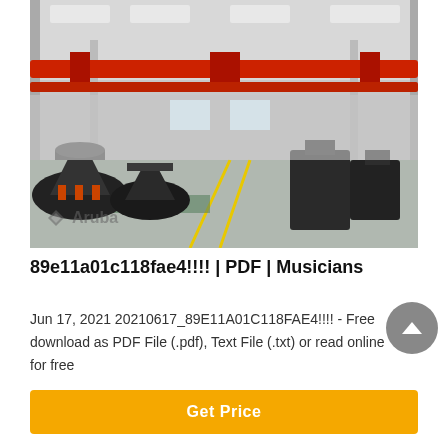[Figure (photo): Industrial factory interior with heavy machinery, cone crushers in foreground, red overhead crane bridge visible, large warehouse-style building with steel structure. Aruba logo watermark in lower-left corner of photo.]
89e11a01c118fae4!!!! | PDF | Musicians
Jun 17, 2021 20210617_89E11A01C118FAE4!!!! - Free download as PDF File (.pdf), Text File (.txt) or read online for free
Get Price